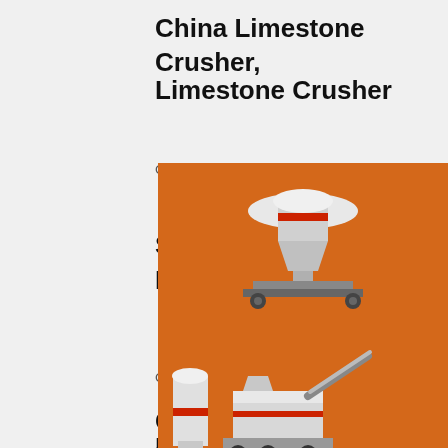China Limestone Crusher,
Limestone Crusher
China Limestone Crusher manufacturers - Select …
Stone Crusher-China Stone C…
Manufacturers ...
[Figure (advertisement): Orange advertisement panel for mining/crushing equipment. Shows images of stone crusher machines (cone crusher, mobile crusher, mill), text 'Enjoy 3% discount', yellow 'Click to Chat' button, 'Enquiry' section, and email 'limingjlmofen@sina.com']
China Stone Crusher - Select 2021 Stone…
China
Mining/Stone/Rock/Limestone…
Mobile Crushing…